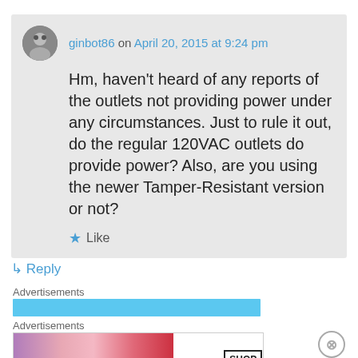ginbot86 on April 20, 2015 at 9:24 pm
Hm, haven't heard of any reports of the outlets not providing power under any circumstances. Just to rule it out, do the regular 120VAC outlets do provide power? Also, are you using the newer Tamper-Resistant version or not?
★ Like
↳ Reply
Advertisements
Advertisements
[Figure (screenshot): MAC cosmetics advertisement banner showing lipsticks with MAC logo and SHOP NOW button]